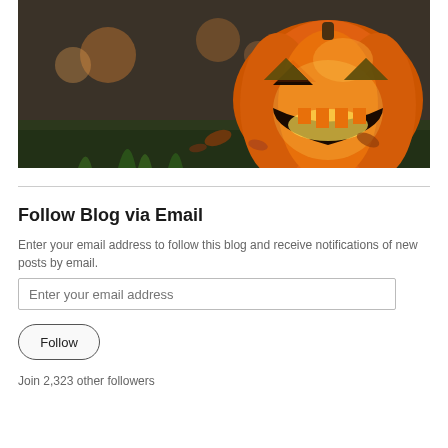[Figure (photo): A glowing jack-o-lantern pumpkin with carved face sitting on grass with autumn leaves and bokeh lights in the background]
Follow Blog via Email
Enter your email address to follow this blog and receive notifications of new posts by email.
Enter your email address
Follow
Join 2,323 other followers